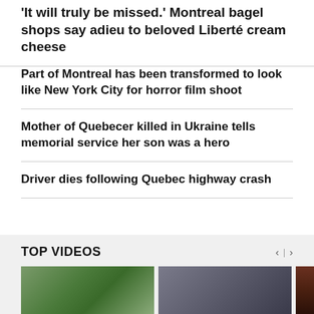'It will truly be missed.' Montreal bagel shops say adieu to beloved Liberté cream cheese
Part of Montreal has been transformed to look like New York City for horror film shoot
Mother of Quebecer killed in Ukraine tells memorial service her son was a hero
Driver dies following Quebec highway crash
TOP VIDEOS